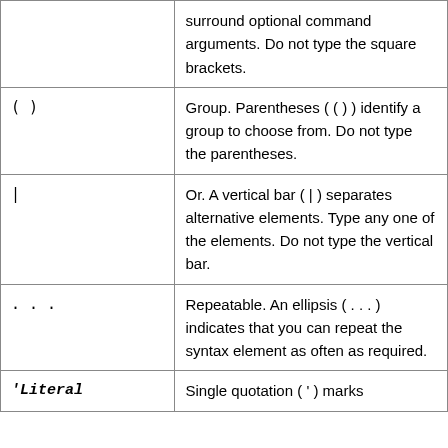| Symbol | Description |
| --- | --- |
|  | surround optional command arguments. Do not type the square brackets. |
| (  ) | Group. Parentheses (  (  )  ) identify a group to choose from. Do not type the parentheses. |
| | | Or. A vertical bar (  |  ) separates alternative elements. Type any one of the elements. Do not type the vertical bar. |
| ... | Repeatable. An ellipsis (  ...  ) indicates that you can repeat the syntax element as often as required. |
| 'Literal | Single quotation (  '  ) marks |